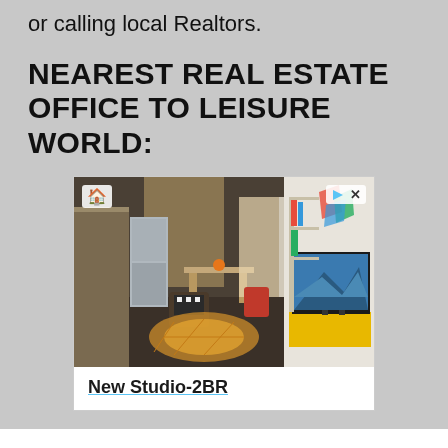or calling local Realtors.
NEAREST REAL ESTATE OFFICE TO LEISURE WORLD:
[Figure (photo): Advertisement showing interior of a modern apartment with living area, kitchen, and TV on yellow cabinet. Includes equal housing logo, close/play icons, and title 'New Studio-2BR'.]
×